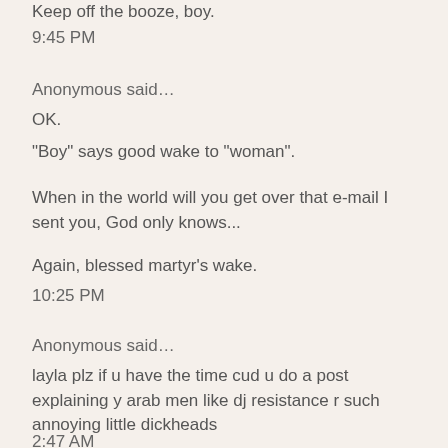Keep off the booze, boy.
9:45 PM
Anonymous said…
OK.
"Boy" says good wake to "woman".
When in the world will you get over that e-mail I sent you, God only knows...
Again, blessed martyr's wake.
10:25 PM
Anonymous said…
layla plz if u have the time cud u do a post explaining y arab men like dj resistance r such annoying little dickheads
2:47 AM